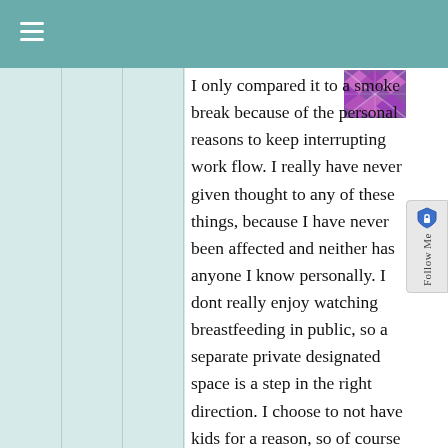≡
[Figure (logo): Decorative geometric pattern logo with purple and pink diamond shapes]
I only compared it to a smoke break because of the personal reasons to keep interrupting work flow. I really have never given thought to any of these things, because I have never been affected and neither has anyone I know personally. I dont really enjoy watching breastfeeding in public, so a separate private designated space is a step in the right direction. I choose to not have kids for a reason, so of course that reflects on my opinions regarding everything baby
[Figure (screenshot): Follow Me sidebar widget with shield/lock icon]